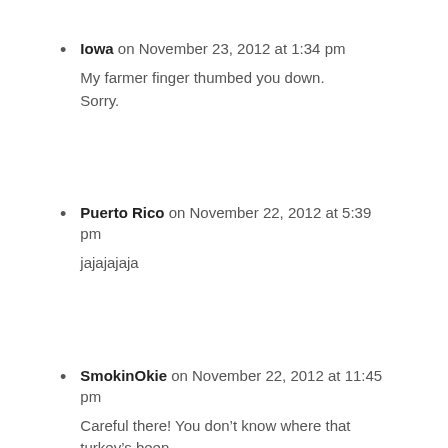Iowa on November 23, 2012 at 1:34 pm
My farmer finger thumbed you down. Sorry.
Puerto Rico on November 22, 2012 at 5:39 pm
jajajajaja
SmokinOkie on November 22, 2012 at 11:45 pm
Careful there! You don’t know where that turkey’s been.